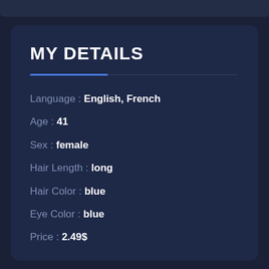MY DETAILS
Language : English, French
Age : 41
Sex : female
Hair Length : long
Hair Color : blue
Eye Color : blue
Price : 2.49$